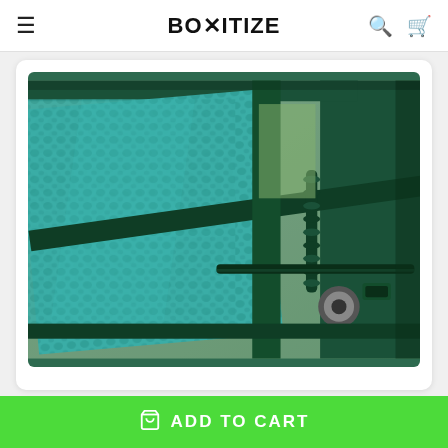BOXITIZE
[Figure (photo): Close-up photo of a dark green metal industrial machine with textured metal grating surface, spring mechanism, roller, and metal frame components. Appears to be a box flattening or cardboard compacting device.]
Carol A Foster Verified ✓
ADD TO CART